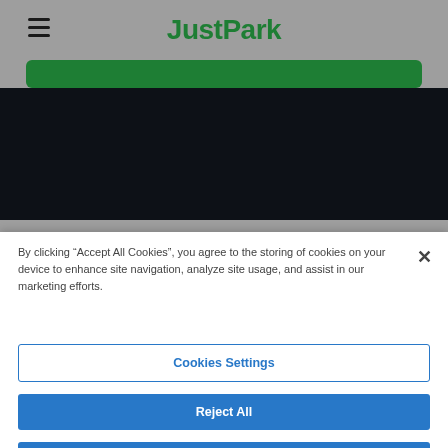JustPark
[Figure (screenshot): Green rounded button bar and dark background section representing the JustPark website UI]
By clicking “Accept All Cookies”, you agree to the storing of cookies on your device to enhance site navigation, analyze site usage, and assist in our marketing efforts.
Cookies Settings
Reject All